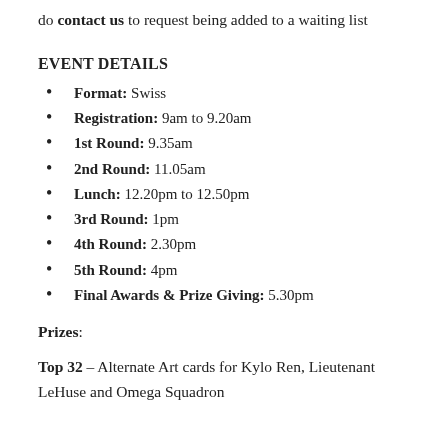do contact us to request being added to a waiting list
EVENT DETAILS
Format: Swiss
Registration: 9am to 9.20am
1st Round: 9.35am
2nd Round: 11.05am
Lunch: 12.20pm to 12.50pm
3rd Round: 1pm
4th Round: 2.30pm
5th Round: 4pm
Final Awards & Prize Giving: 5.30pm
Prizes:
Top 32 – Alternate Art cards for Kylo Ren, Lieutenant LeHuse and Omega Squadron